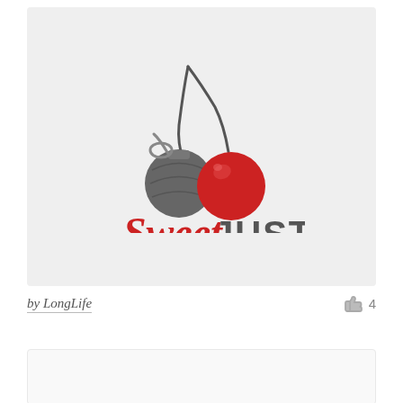[Figure (logo): Sweet Justice logo: a grenade styled as a dark cherry next to a red cherry, with stems intertwined, above the text 'Sweet JUSTICE' in red italic and gray bold]
by LongLife
4